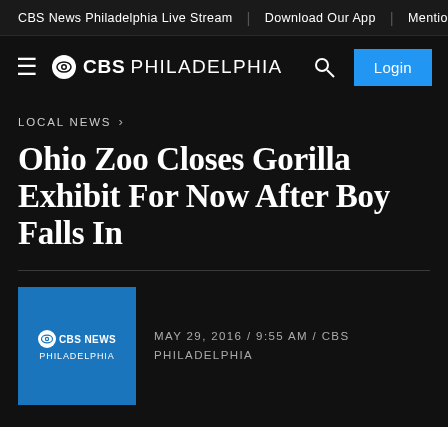CBS News Philadelphia Live Stream | Download Our App | Mentioned O
[Figure (logo): CBS Philadelphia logo with eye icon and hamburger menu, search icon, and Login button]
LOCAL NEWS >
Ohio Zoo Closes Gorilla Exhibit For Now After Boy Falls In
MAY 29, 2016 / 9:55 AM / CBS PHILADELPHIA